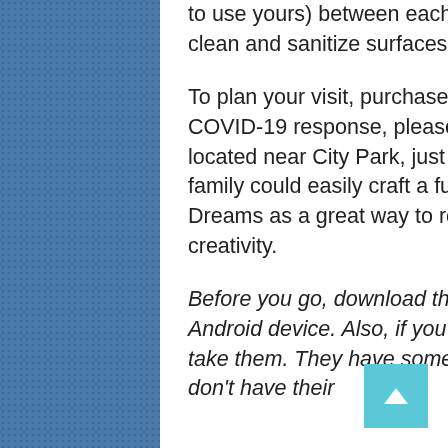to use yours) between each group. Reduced hours mean they can clean and sanitize surfaces more effectively.
To plan your visit, purchase tickets ($14), and read about Prismajic's COVID-19 response, please visit Prismajic. The pop-up installation is located near City Park, just west of the Denver Zoo and DMNS. Your family could easily craft a fun day of exploration in the city with Shiki Dreams as a great way to round out a day immersed in culture and creativity.
Before you go, download the app Shiki Dreams onto your iPhone or Android device. Also, if you have your own earbuds or headphones, take them. They have some you may borrow if you have kids who don't have their